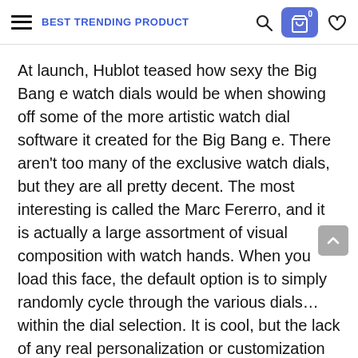BEST TRENDING PRODUCT
At launch, Hublot teased how sexy the Big Bang e watch dials would be when showing off some of the more artistic watch dial software it created for the Big Bang e. There aren't too many of the exclusive watch dials, but they are all pretty decent. The most interesting is called the Marc Fererro, and it is actually a large assortment of visual composition with watch hands. When you load this face, the default option is to simply randomly cycle through the various dials… within the dial selection. It is cool, but the lack of any real personalization or customization in the Hublot watch face software options feels limiting. Indeed, Hublot is not a software